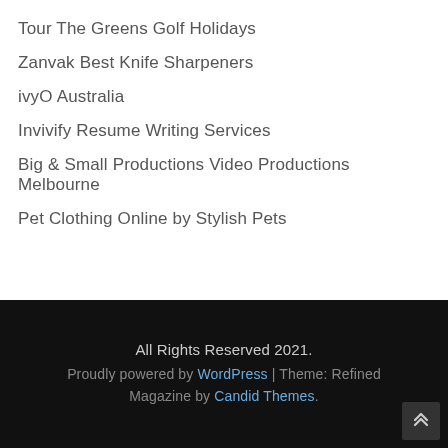Tour The Greens Golf Holidays
Zanvak Best Knife Sharpeners
ivyO Australia
Invivify Resume Writing Services
Big & Small Productions Video Productions Melbourne
Pet Clothing Online by Stylish Pets
All Rights Reserved 2021. Proudly powered by WordPress | Theme: Refined Magazine by Candid Themes.